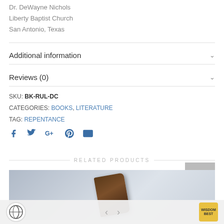Dr. DeWayne Nichols
Liberty Baptist Church
San Antonio, Texas
Additional information
Reviews (0)
SKU: BK-RUL-DC
CATEGORIES: BOOKS, LITERATURE
TAG: REPENTANCE
[Figure (infographic): Social sharing icons: Facebook, Twitter, Google+, Pinterest, Email]
RELATED PRODUCTS
[Figure (photo): Related product image showing a book with dark brown cover against a light blue background]
Navigation arrows and logos